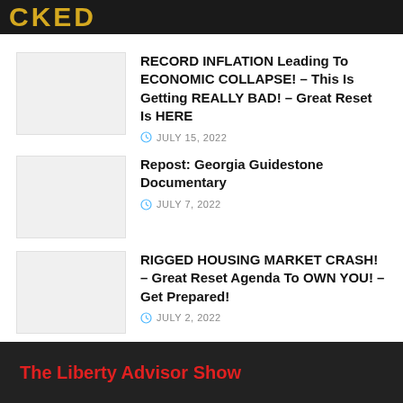[Figure (photo): Dark banner image with bold yellow text partially visible (letters 'CKED' visible), appears to be a video thumbnail or header image]
RECORD INFLATION Leading To ECONOMIC COLLAPSE! – This Is Getting REALLY BAD! – Great Reset Is HERE
JULY 15, 2022
Repost: Georgia Guidestone Documentary
JULY 7, 2022
RIGGED HOUSING MARKET CRASH! – Great Reset Agenda To OWN YOU! – Get Prepared!
JULY 2, 2022
The Liberty Advisor Show